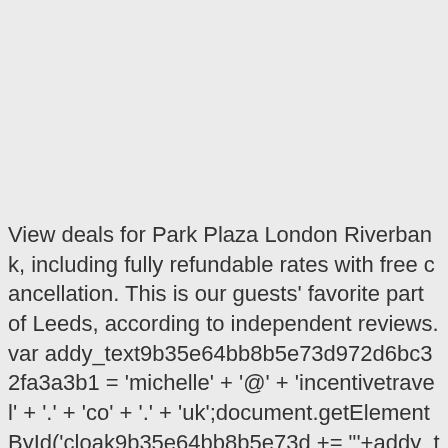View deals for Park Plaza London Riverbank, including fully refundable rates with free cancellation. This is our guests' favorite part of Leeds, according to independent reviews. var addy_text9b35e64bb8b5e73d972d6bc32fa3a3b1 = 'michelle' + '@' + 'incentivetravel' + '.' + 'co' + '.' + 'uk';document.getElementById('cloak9b35e64bb8b5e73d += "'+addy_text9b35e64bb8b5e73d972d6bc32fa3a3b1+'<\/a View the embedded image gallery online at: This email